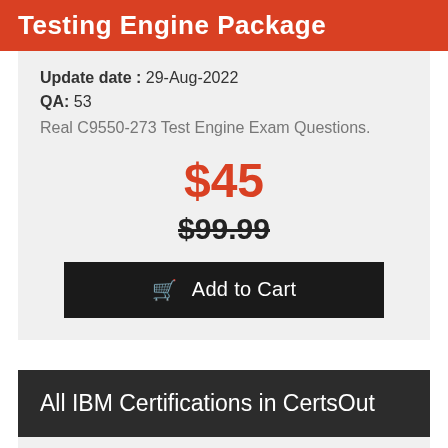Testing Engine Package
Update date : 29-Aug-2022
QA: 53
Real C9550-273 Test Engine Exam Questions.
$45
$99.99
Add to Cart
All IBM Certifications in CertsOut
C1000-010 Dumps